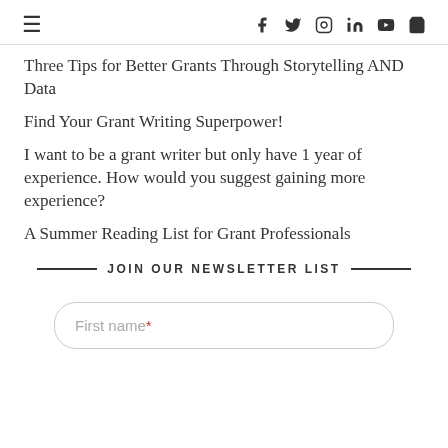Navigation and social icons header
Three Tips for Better Grants Through Storytelling AND Data
Find Your Grant Writing Superpower!
I want to be a grant writer but only have 1 year of experience. How would you suggest gaining more experience?
A Summer Reading List for Grant Professionals
JOIN OUR NEWSLETTER LIST
First name*